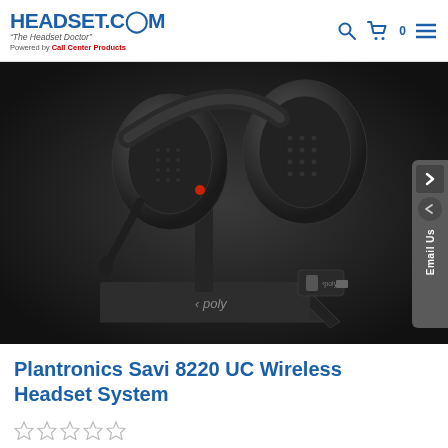HEADSET.COM "The Headset Doctor" Powered by Call Center Products
[Figure (photo): Plantronics Poly Savi 8220 UC Wireless Headset System product photo showing a dual-ear headset on a charging base with a USB dongle, displayed against a dark background]
Plantronics Savi 8220 UC Wireless Headset System
[Figure (other): Five empty star rating icons]